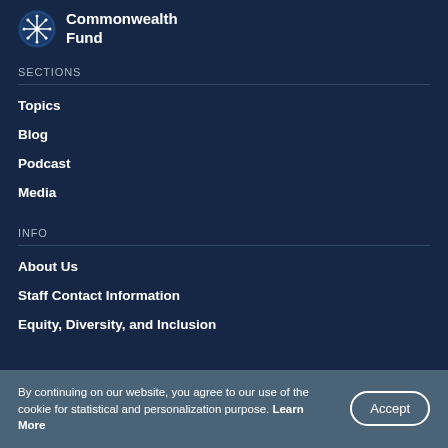[Figure (logo): Commonwealth Fund logo: circular snowflake/star emblem in blue and white with text 'Commonwealth Fund']
SECTIONS
Topics
Blog
Podcast
Media
INFO
About Us
Staff Contact Information
Equity, Diversity, and Inclusion
By continuing on our website, you agree to our use of the cookie for statistical and personalization purpose. Learn More
Accept